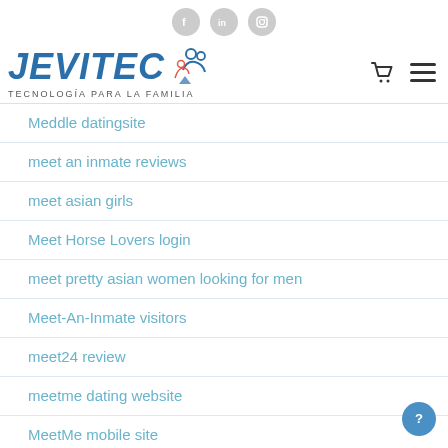[Figure (logo): Social media icons: Facebook, LinkedIn, Instagram in grey circles]
[Figure (logo): JEVITEC logo with tagline TECNOLOGÍA PARA LA FAMILIA and person/family icon, plus cart and hamburger menu icons]
Meddie datingsite
meet an inmate reviews
meet asian girls
Meet Horse Lovers login
meet pretty asian women looking for men
Meet-An-Inmate visitors
meet24 review
meetme dating website
MeetMe mobile site